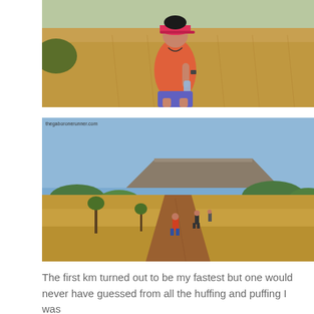[Figure (photo): A woman runner wearing a pink cap and orange tank top holding a water bottle, running through dry golden grassland savanna terrain.]
[Figure (photo): Trail runners running along a narrow dirt path through dry golden grassland with a flat-topped hill and blue sky in the background. Watermark: thegaboronerunner.com]
The first km turned out to be my fastest but one would never have guessed from all the huffing and puffing I was